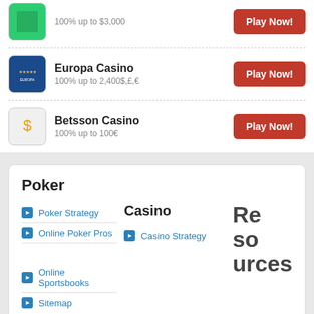100% up to $3,000 — Play Now!
Europa Casino — 100% up to 2,400$,£,€ — Play Now!
Betsson Casino — 100% up to 100€ — Play Now!
Poker
Poker Strategy
Online Poker Pros
Casino
Casino Strategy
Resources
Online Sportsbooks
Sitemap